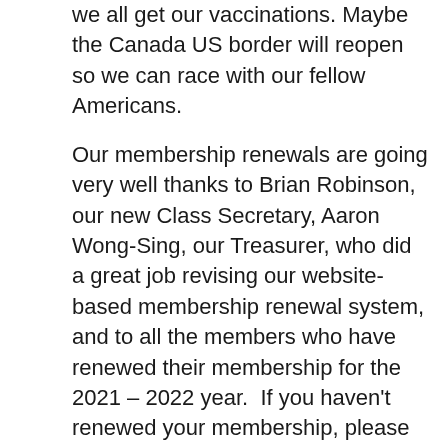we all get our vaccinations. Maybe the Canada US border will reopen so we can race with our fellow Americans.
Our membership renewals are going very well thanks to Brian Robinson, our new Class Secretary, Aaron Wong-Sing, our Treasurer, who did a great job revising our website-based membership renewal system, and to all the members who have renewed their membership for the 2021 – 2022 year. If you haven't renewed your membership, please go to https://www.canada24mr.com/canadian-class-membership-2021/ and complete the membership registration. This year, we have reduced our Full membership fee from $50.00 to $40.00. We also have an Associate membership category for individuals who are not boat owners but are supporters of the Canadian 2.4mR Class, and an Organization membership for Provincial Sailing Associations, community groups and similar organizations who own one or more boats that